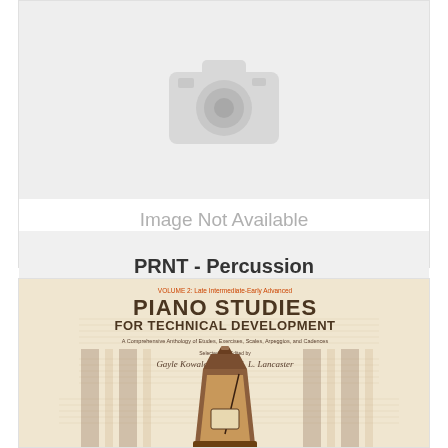[Figure (other): Image not available placeholder with camera icon graphic and text 'Image Not Available' on grey background]
PRNT - Percussion
[Figure (photo): Book cover: Piano Studies for Technical Development, Volume 2: Late Intermediate Early Advanced. A Comprehensive Anthology of Etudes, Exercises, Scales, Arpeggios, and Cadences. Selected and Edited by Gayle Kowalchyk and E. L. Lancaster. Shows a metronome on a background of sheet music.]